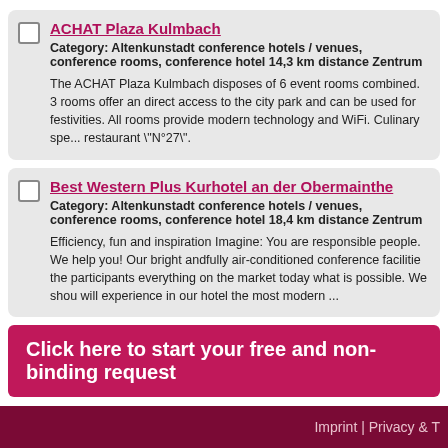ACHAT Plaza Kulmbach
Category: Altenkunstadt conference hotels / venues, conference rooms, conference hotel 14,3 km distance Zentrum
The ACHAT Plaza Kulmbach disposes of 6 event rooms combined. 3 rooms offer an direct access to the city park and can be used for festivities. All rooms provide modern technology and WiFi. Culinary specialties restaurant "N°27".
Best Western Plus Kurhotel an der Obermaintherapie
Category: Altenkunstadt conference hotels / venues, conference rooms, conference hotel 18,4 km distance Zentrum
Efficiency, fun and inspiration Imagine: You are responsible for people. We help you! Our bright andfully air-conditioned conference facilities the participants everything on the market today what is possible. We should will experience in our hotel the most modern ...
Click here to start your free and non-binding request
Haven't found an adequate Altenkunstadt conference hotel in our list or want conference hotel? Please contact us!
Imprint | Privacy & T